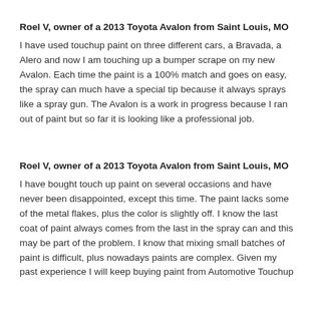Roel V, owner of a 2013 Toyota Avalon from Saint Louis, MO
I have used touchup paint on three different cars, a Bravada, a Alero and now I am touching up a bumper scrape on my new Avalon. Each time the paint is a 100% match and goes on easy, the spray can much have a special tip because it always sprays like a spray gun. The Avalon is a work in progress because I ran out of paint but so far it is looking like a professional job.
Roel V, owner of a 2013 Toyota Avalon from Saint Louis, MO
I have bought touch up paint on several occasions and have never been disappointed, except this time. The paint lacks some of the metal flakes, plus the color is slightly off. I know the last coat of paint always comes from the last in the spray can and this may be part of the problem. I know that mixing small batches of paint is difficult, plus nowadays paints are complex. Given my past experience I will keep buying paint from Automotive Touchup